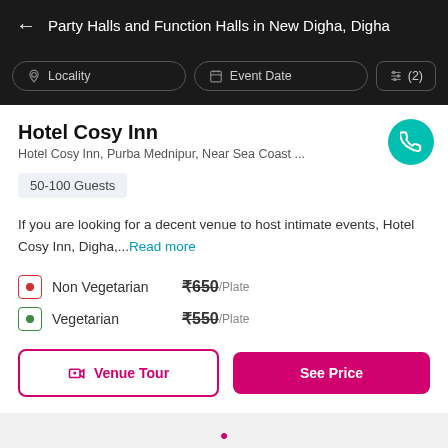← Party Halls and Function Halls in New Digha, Digha
Hotel Cosy Inn
Hotel Cosy Inn, Purba Mednipur, Near Sea Coast ...
50-100 Guests
If you are looking for a decent venue to host intimate events, Hotel Cosy Inn, Digha,...Read more
Non Vegetarian  ₹650/Plate
Vegetarian  ₹550/Plate
Venue Tour  |  See Price